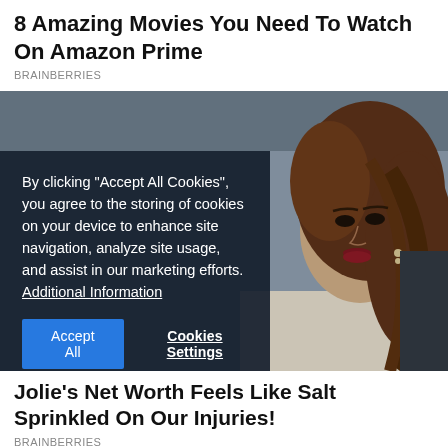8 Amazing Movies You Need To Watch On Amazon Prime
BRAINBERRIES
[Figure (photo): Photo of a woman with long brown hair; cookie consent overlay on top left showing: By clicking "Accept All Cookies", you agree to the storing of cookies on your device to enhance site navigation, analyze site usage, and assist in our marketing efforts. Additional Information. Buttons: Accept All, Cookies Settings]
Jolie's Net Worth Feels Like Salt Sprinkled On Our Injuries!
BRAINBERRIES
[Figure (photo): Partial photo of a decorative dark frame or artwork, dark toned background]